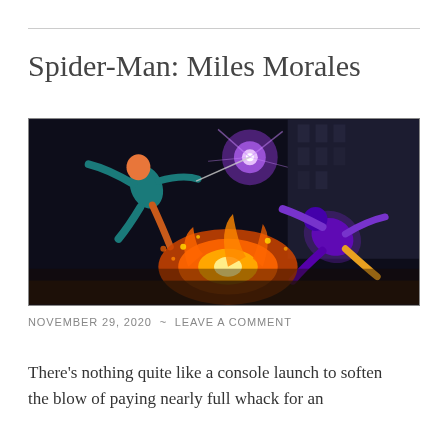Spider-Man: Miles Morales
[Figure (screenshot): Game screenshot from Spider-Man: Miles Morales showing a superhero in a teal suit leaping amid an explosion with fire and debris, facing an enemy in a purple glowing suit against a dark urban nighttime backdrop.]
NOVEMBER 29, 2020  ~  LEAVE A COMMENT
There’s nothing quite like a console launch to soften the blow of paying nearly full whack for an